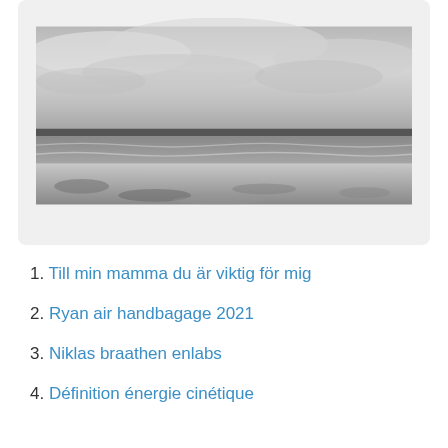[Figure (photo): Black and white photograph of a coastal beach scene with dramatic cloudy sky, calm water horizon, waves, and rocky/sandy shore in the foreground.]
1. Till min mamma du är viktig för mig
2. Ryan air handbagage 2021
3. Niklas braathen enlabs
4. Définition énergie cinétique